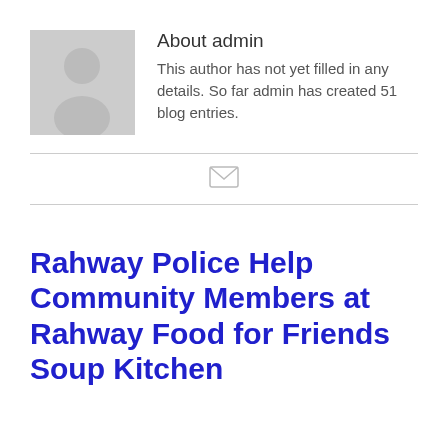[Figure (illustration): Gray placeholder avatar icon showing a silhouette of a person on a light gray square background]
About admin
This author has not yet filled in any details. So far admin has created 51 blog entries.
[Figure (other): Small gray envelope/email icon centered between two horizontal divider lines]
Rahway Police Help Community Members at Rahway Food for Friends Soup Kitchen